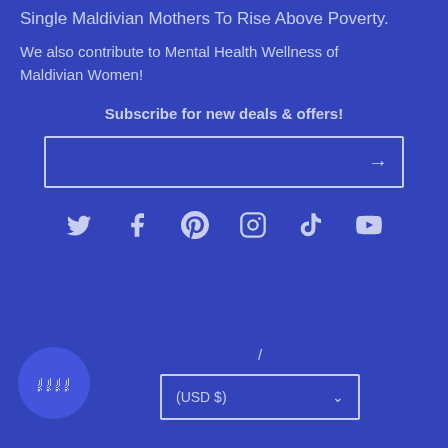Single Maldivian Mothers To Rise Above Poverty.
We also contribute to Mental Health Wellness of Maldivian Women!
Subscribe for new deals & offers!
[Figure (other): Email subscription input box with arrow/submit button]
[Figure (other): Social media icons row: Twitter, Facebook, Pinterest, Instagram, TikTok, YouTube]
[Figure (other): Chat bubble icon with Dhivehi/Arabic text]
/
[Figure (other): Currency selector dropdown showing (USD $)]